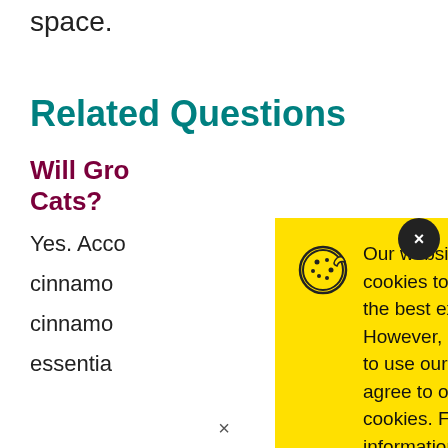space.
Related Questions
Will Gro... Cats?
Yes. Acco...
cinnamo...
cinnamo...
essentia...
[Figure (screenshot): Cookie consent modal overlay on yellow background with cookie icon, text about cookies policy, and an Accept button. A close button (x) appears in the top right corner.]